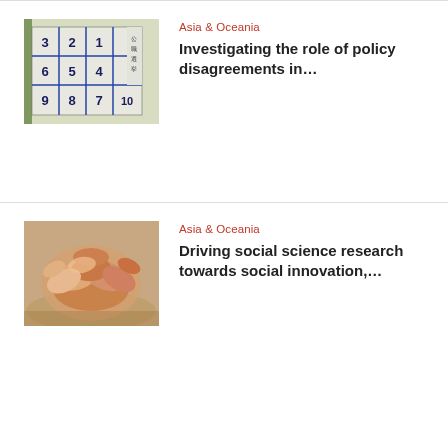[Figure (photo): Japanese election candidate board with numbered grid squares outdoors]
Asia & Oceania
Investigating the role of policy disagreements in…
[Figure (photo): Group of people stacking hands together in a circle, viewed from above]
Asia & Oceania
Driving social science research towards social innovation,…